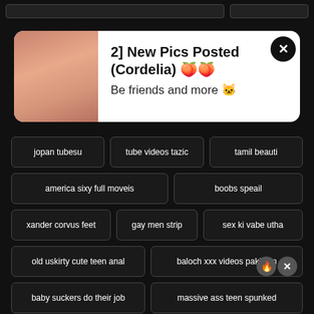[Figure (screenshot): Top bar with two gray button placeholders on black background]
[Figure (photo): Popup advertisement with a photo of a woman with red hair, white background notification card showing '2] New Pics Posted (Cordelia)' with emoji, 'Be friends and more' text, and a black X close button]
jopan tubesu
tube videos tazic
tamil beauti
america sixy full moveis
boobs speail
xander corvus feet
gay men strip
sex ki vabe utha
old uskirty cute teen anal
baloch xxx videos pakistan
baby suckers do their job
massive ass teen spunked